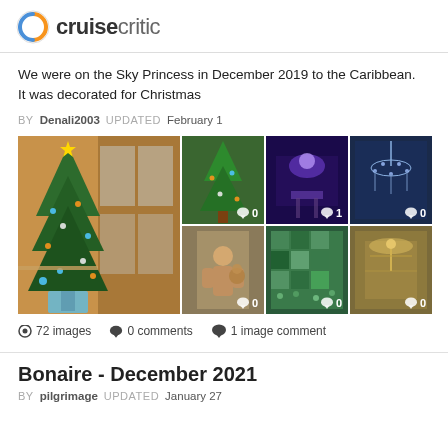cruisecritic
We were on the Sky Princess in December 2019 to the Caribbean. It was decorated for Christmas
BY Denali2003   UPDATED February 1
[Figure (photo): Photo gallery grid showing Christmas decorations on Sky Princess cruise ship: large Christmas tree (main), decorated tree thumbnail with 0 comments, purple-lit lounge with 1 comment, blue chandelier with 0 comments, child with bear with 0 comments, colorful mosaic with 0 comments, golden interior with 0 comments]
72 images   0 comments   1 image comment
Bonaire - December 2021
BY pilgrimage  UPDATED  January 27